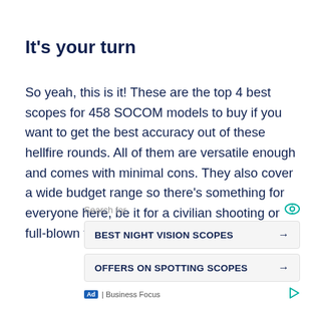It's your turn
So yeah, this is it! These are the top 4 best scopes for 458 SOCOM models to buy if you want to get the best accuracy out of these hellfire rounds. All of them are versatile enough and comes with minimal cons. They also cover a wide budget range so there's something for everyone here, be it for a civilian shooting or full-blown tactical assignments.
[Figure (infographic): Advertisement block with 'Search for' label and eye icon, two search buttons: 'BEST NIGHT VISION SCOPES' and 'OFFERS ON SPOTTING SCOPES' each with arrow, and an 'Ad | Business Focus' footer with play icon.]